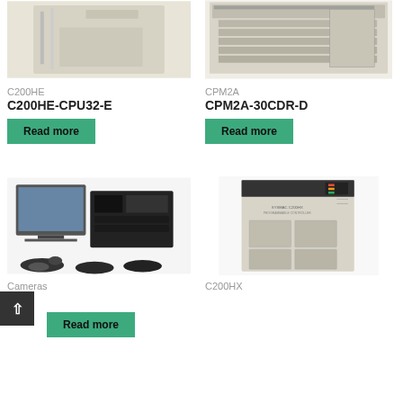[Figure (photo): C200HE PLC controller unit, beige cabinet]
[Figure (photo): CPM2A programmable controller with modules]
C200HE
C200HE-CPU32-E
Read more
CPM2A
CPM2A-30CDR-D
Read more
[Figure (photo): Cameras and vision system components with monitor and lenses]
[Figure (photo): C200HX large PLC cabinet controller]
Cameras
SC
Read more
C200HX